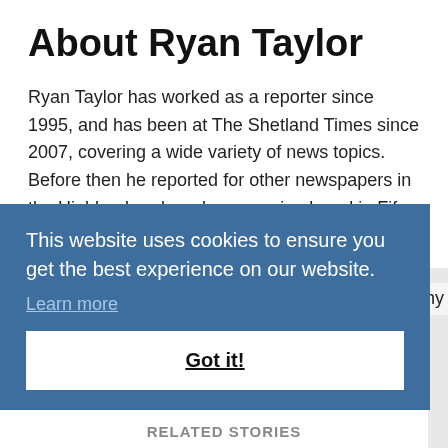About Ryan Taylor
Ryan Taylor has worked as a reporter since 1995, and has been at The Shetland Times since 2007, covering a wide variety of news topics. Before then he reported for other newspapers in the Highlands, where he was raised, and in Fife, where he began his career with DC Thomson. He also has experience in broadcast journalism with Grampian Television. He has lived in [partially obscured] hy
This website uses cookies to ensure you get the best experience on our website.
Learn more
Got it!
RELATED STORIES